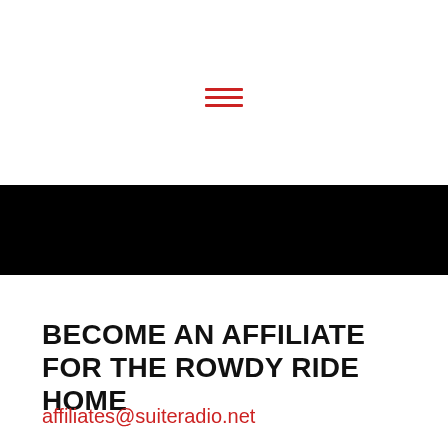[Figure (infographic): Hamburger menu icon with three horizontal red lines centered in the upper white section of the page]
[Figure (other): Solid black horizontal band spanning full width of the page]
BECOME AN AFFILIATE FOR THE ROWDY RIDE HOME
affiliates@suiteradio.net